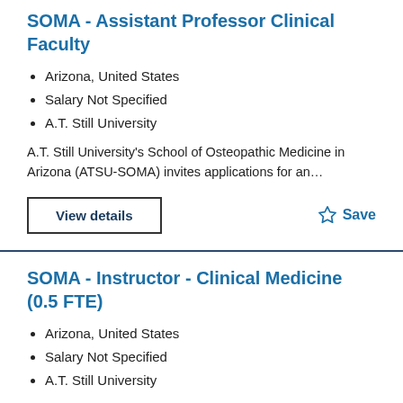SOMA - Assistant Professor Clinical Faculty
Arizona, United States
Salary Not Specified
A.T. Still University
A.T. Still University's School of Osteopathic Medicine in Arizona (ATSU-SOMA) invites applications for an…
View details
Save
SOMA - Instructor - Clinical Medicine (0.5 FTE)
Arizona, United States
Salary Not Specified
A.T. Still University
A.T. Still University's School of Osteopathic Medicine in Arizona...